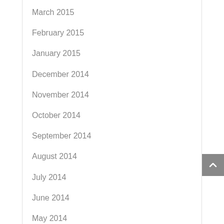March 2015
February 2015
January 2015
December 2014
November 2014
October 2014
September 2014
August 2014
July 2014
June 2014
May 2014
April 2014
February 2014
January 2014
October 2013